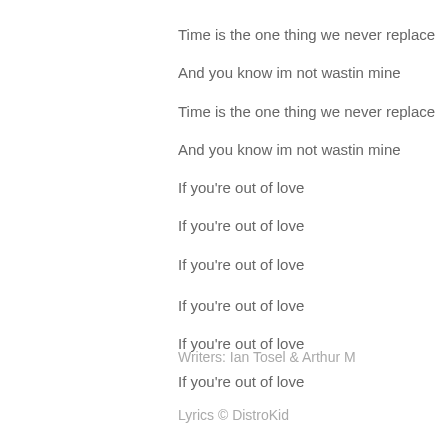Time is the one thing we never replace
And you know im not wastin mine
Time is the one thing we never replace
And you know im not wastin mine
If you're out of love
If you're out of love
If you're out of love

If you're out of love
If you're out of love
If you're out of love
Writers: Ian Tosel & Arthur M
Lyrics © DistroKid
Lyrics licensed by LyricFind
[Figure (other): Twitter Tweet button with bird logo]